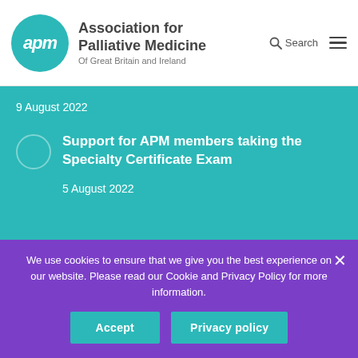[Figure (logo): APM logo: teal circle with white italic 'apm' text, beside 'Association for Palliative Medicine Of Great Britain and Ireland']
9 August 2022
Support for APM members taking the Specialty Certificate Exam
5 August 2022
Join the APM today
We use cookies to ensure that we give you the best experience on our website. Please read our Cookie and Privacy Policy for more information.
Accept
Privacy policy